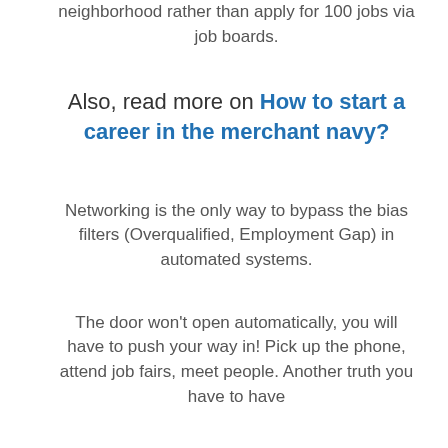neighborhood rather than apply for 100 jobs via job boards.
Also, read more on How to start a career in the merchant navy?
Networking is the only way to bypass the bias filters (Overqualified, Employment Gap) in automated systems.
The door won't open automatically, you will have to push your way in! Pick up the phone, attend job fairs, meet people. Another truth you have to have